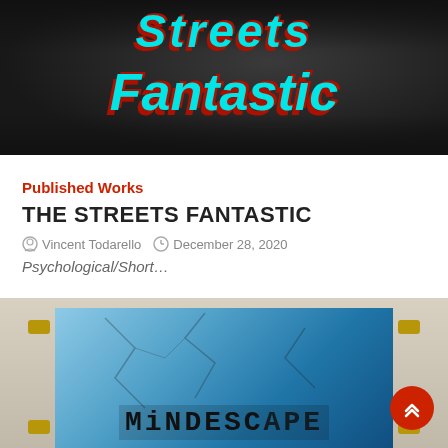[Figure (illustration): Book cover banner showing 'Streets Fantastic' in cyan italic graffiti-style text with red shadow on a dark monochrome street scene background]
Published Works
THE STREETS FANTASTIC
Vincent Todarello   December 28, 2020
Psychological/Short…
[Figure (illustration): Book cover for 'Mindescape' showing a weathered door frame with cracked blue sky visible through the window pane and bold black stencil-style text reading MINDESCAPE]